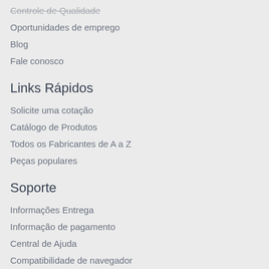Controle de Qualidade
Oportunidades de emprego
Blog
Fale conosco
Links Rápidos
Solicite uma cotação
Catálogo de Produtos
Todos os Fabricantes de A a Z
Peças populares
Soporte
Informações Entrega
Informação de pagamento
Central de Ajuda
Compatibilidade de navegador
Fale conosco